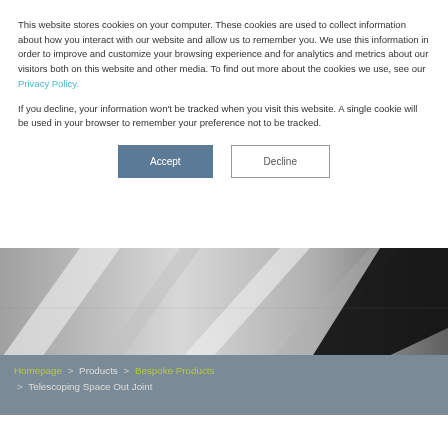This website stores cookies on your computer. These cookies are used to collect information about how you interact with our website and allow us to remember you. We use this information in order to improve and customize your browsing experience and for analytics and metrics about our visitors both on this website and other media. To find out more about the cookies we use, see our Privacy Policy.
If you decline, your information won't be tracked when you visit this website. A single cookie will be used in your browser to remember your preference not to be tracked.
[Figure (photo): Black and white photo of telescoping pipe joints, diagonal pattern with one black and white sections]
Homepage > Products > Bespoke Products > Telescoping Space Out Joint